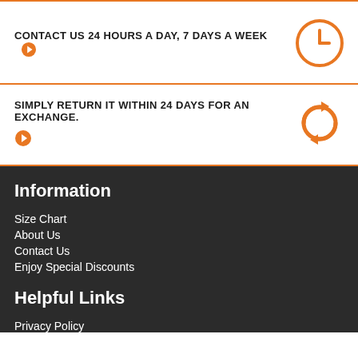CONTACT US 24 HOURS A DAY, 7 DAYS A WEEK →
SIMPLY RETURN IT WITHIN 24 DAYS FOR AN EXCHANGE. →
Information
Size Chart
About Us
Contact Us
Enjoy Special Discounts
Helpful Links
Privacy Policy